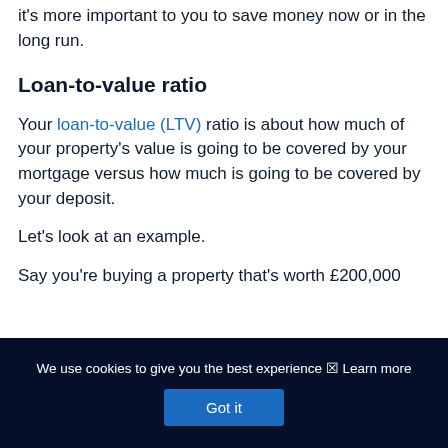it's more important to you to save money now or in the long run.
Loan-to-value ratio
Your loan-to-value (LTV) ratio is about how much of your property's value is going to be covered by your mortgage versus how much is going to be covered by your deposit.
Let's look at an example.
Say you're buying a property that's worth £200,000
We use cookies to give you the best experience ⊠ Learn more